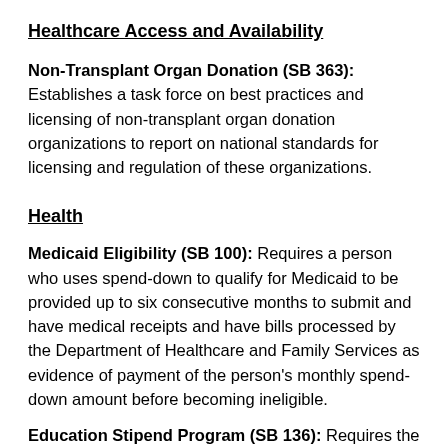Healthcare Access and Availability
Non-Transplant Organ Donation (SB 363): Establishes a task force on best practices and licensing of non-transplant organ donation organizations to report on national standards for licensing and regulation of these organizations.
Health
Medicaid Eligibility (SB 100): Requires a person who uses spend-down to qualify for Medicaid to be provided up to six consecutive months to submit and have medical receipts and have bills processed by the Department of Healthcare and Family Services as evidence of payment of the person’s monthly spend-down amount before becoming ineligible.
Education Stipend Program (SB 136): Requires the Department of Children and Family Services to establish